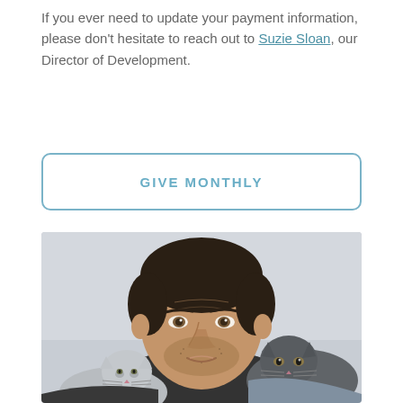If you ever need to update your payment information, please don't hesitate to reach out to Suzie Sloan, our Director of Development.
GIVE MONTHLY
[Figure (photo): A young man with dark hair and stubble holding two cats close to his face — a white/grey cat and a dark grey cat — photographed in a selfie style against a light background.]